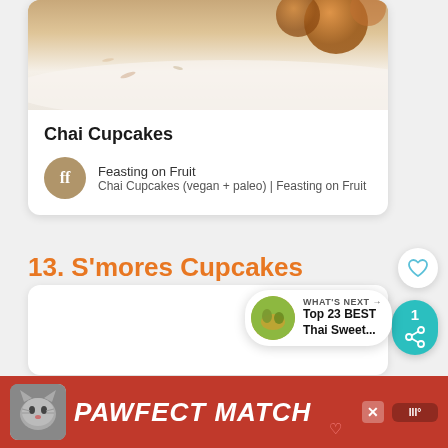[Figure (photo): Chai cupcakes food photograph showing cupcakes on a white surface with warm tones]
Chai Cupcakes
Feasting on Fruit
Chai Cupcakes (vegan + paleo) | Feasting on Fruit
13. S'mores Cupcakes
[Figure (photo): What's Next banner showing Top 23 BEST Thai Sweet... with thumbnail]
[Figure (photo): Advertisement banner: PAWFECT MATCH with cat image on red background]